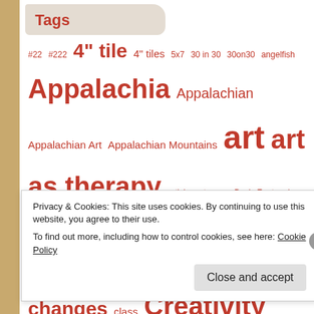Tags
#22 #222 4" tile 4" tiles 5x7 30 in 30 30on30 angelfish Appalachia Appalachian Appalachian Art Appalachian Mountains art art as therapy article art swap Basic Zentangle 101 bee birds bookmark books butterfly cat Celebration of the Arts changes class Creativity CZT deer doodle doodleaday Doodle Art doodles doodling drawing faces fawn Fincher florz flux frames free freedom groundhog heart HeArt Tangles Studios HTS Hummingbird Iamthediva challenge kitten knightsbridge leaf Liberate Your Art mandala mosaic news Noah notecard notecards photography photos pink postcards proud purk
Privacy & Cookies: This site uses cookies. By continuing to use this website, you agree to their use.
To find out more, including how to control cookies, see here: Cookie Policy
Close and accept